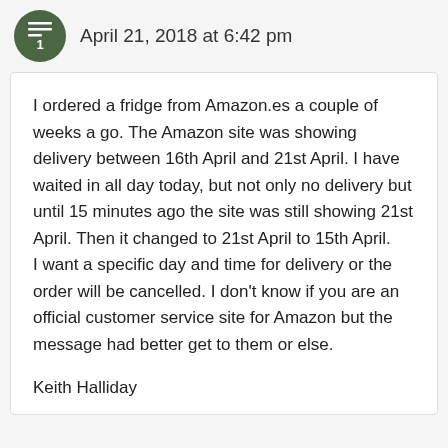April 21, 2018 at 6:42 pm
I ordered a fridge from Amazon.es a couple of weeks a go. The Amazon site was showing delivery between 16th April and 21st April. I have waited in all day today, but not only no delivery but until 15 minutes ago the site was still showing 21st April. Then it changed to 21st April to 15th April.
I want a specific day and time for delivery or the order will be cancelled. I don't know if you are an official customer service site for Amazon but the message had better get to them or else.
Keith Halliday